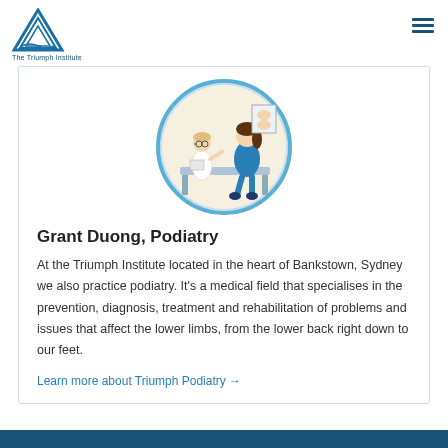The Triumph Institute
[Figure (illustration): Circular illustration of a doctor and a patient sitting on an examination table, with a foot anatomy poster in the background. Light blue circle border with cream background.]
Grant Duong, Podiatry
At the Triumph Institute located in the heart of Bankstown, Sydney we also practice podiatry. It's a medical field that specialises in the prevention, diagnosis, treatment and rehabilitation of problems and issues that affect the lower limbs, from the lower back right down to our feet.
Learn more about Triumph Podiatry →